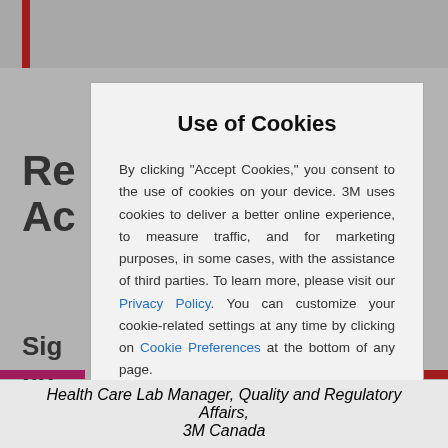Use of Cookies
By clicking "Accept Cookies," you consent to the use of cookies on your device. 3M uses cookies to deliver a better online experience, to measure traffic, and for marketing purposes, in some cases, with the assistance of third parties. To learn more, please visit our Privacy Policy. You can customize your cookie-related settings at any time by clicking on Cookie Preferences at the bottom of any page.
Health Care Lab Manager, Quality and Regulatory Affairs, 3M Canada